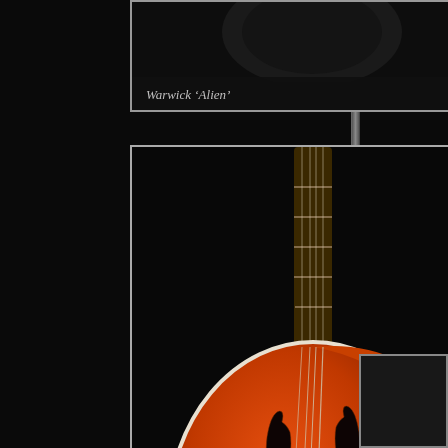[Figure (photo): Partial view of a Warwick 'Alien' bass guitar with caption at bottom]
Warwick 'Alien'
[Figure (photo): Orange Gretsch 'Electromatic' hollow-body bass guitar with f-holes on dark background]
Gretsch 'Electromatic'
[Figure (photo): Amber/sunburst vintage-style bass guitar body, partially visible, on dark background]